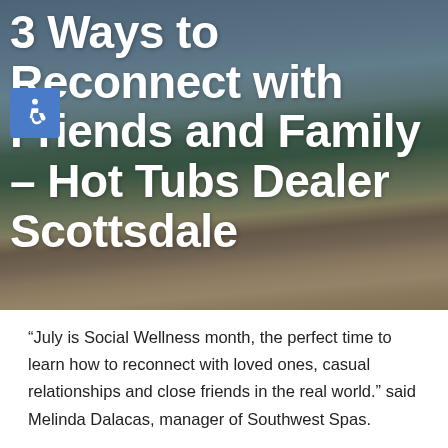[Figure (photo): Outdoor hot tub on a wooden deck beside a lake, with trees, hills and dramatic sky in the background. Overlaid with large white title text.]
3 Ways to Reconnect with Friends and Family – Hot Tubs Dealer Scottsdale
“July is Social Wellness month, the perfect time to learn how to reconnect with loved ones, casual relationships and close friends in the real world.” said Melinda Dalacas, manager of Southwest Spas.